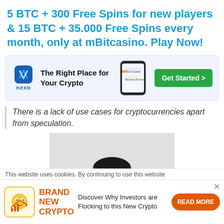5 BTC + 300 Free Spins for new players & 15 BTC + 35.000 Free Spins every month, only at mBitcasino. Play Now!
[Figure (infographic): Nexo banner ad: logo on left, tagline 'The Right Place for Your Crypto', phone graphic in center, green 'Get Started >' button on right]
There is a lack of use cases for cryptocurrencies apart from speculation.
[Figure (photo): Black and white photo of a person, showing the top of their head with dark hair against a light gray background]
This website uses cookies. By continuing to use this website
[Figure (infographic): Bottom banner ad: crypto icon on left, 'BRAND NEW CRYPTO' label in orange, 'Discover Why Investors are Flocking to this New Crypto' description, orange 'READ MORE' button on right]